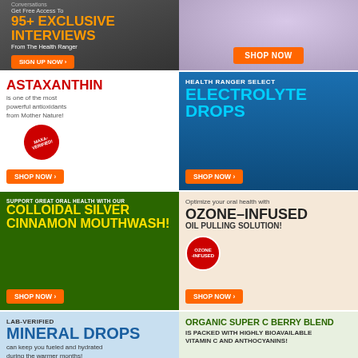[Figure (infographic): Dark gray ad banner: '95+ EXCLUSIVE INTERVIEWS From The Health Ranger - SIGN UP NOW']
[Figure (infographic): Lavender oil product photo with SHOP NOW button]
[Figure (infographic): ASTAXANTHIN antioxidant supplement ad with woman and product bottle, SHOP NOW button]
[Figure (infographic): Health Ranger Select ELECTROLYTE DROPS ad with blue background, SHOP NOW button]
[Figure (infographic): COLLOIDAL SILVER CINNAMON MOUTHWASH ad on green background, SHOP NOW button]
[Figure (infographic): OZONE-INFUSED OIL PULLING SOLUTION ad on beige background, SHOP NOW button]
[Figure (infographic): LAB-VERIFIED MINERAL DROPS ad, can keep you fueled and hydrated during the warmer months, blue background]
[Figure (infographic): ORGANIC SUPER C BERRY BLEND IS PACKED WITH HIGHLY BIOAVAILABLE VITAMIN C AND ANTHOCYANINS, 14 MG]